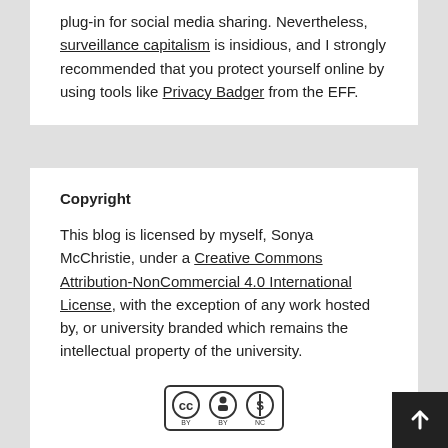plug-in for social media sharing. Nevertheless, surveillance capitalism is insidious, and I strongly recommended that you protect yourself online by using tools like Privacy Badger from the EFF.
Copyright
This blog is licensed by myself, Sonya McChristie, under a Creative Commons Attribution-NonCommercial 4.0 International License, with the exception of any work hosted by, or university branded which remains the intellectual property of the university.
[Figure (logo): Creative Commons Attribution-NonCommercial license badge showing CC, BY, NC icons]